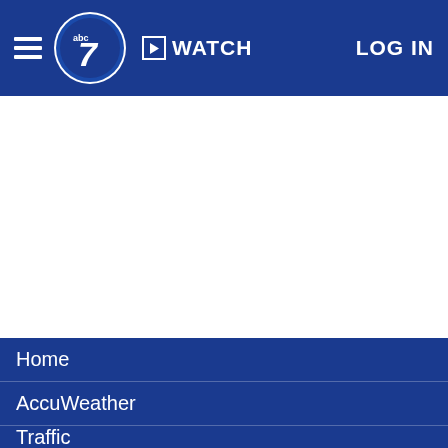ABC7 WATCH LOG IN
[Figure (screenshot): White blank content area]
Home
AccuWeather
Traffic
Local News
Categories